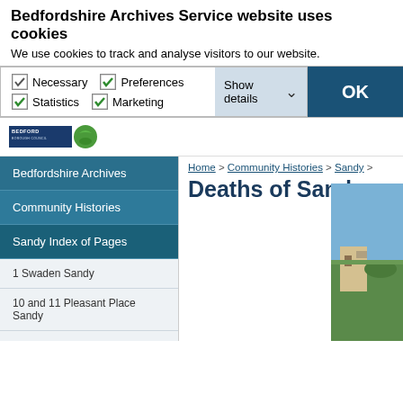Bedfordshire Archives Service website uses cookies
We use cookies to track and analyse visitors to our website.
Necessary  Preferences  Statistics  Marketing
OK
Show details
[Figure (logo): Bedford Borough Council logo with green circle]
Home > Community Histories > Sandy >
Deaths of Sandy
Bedfordshire Archives
Community Histories
Sandy Index of Pages
1 Swaden Sandy
10 and 11 Pleasant Place Sandy
21 Market Square Sandy
37 Ivel Road Sandy
51 and 51a High Street Sandy
53 to 57 Bedford Road Sandy
[Figure (photo): Partial photo of a building or landscape in Sandy]